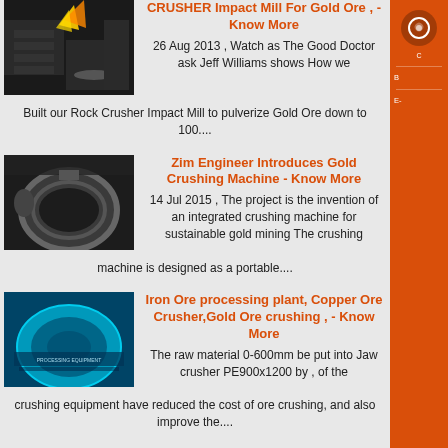[Figure (photo): Industrial machine with sparks/flames, dark workshop setting]
CRUSHER Impact Mill For Gold Ore , - Know More
26 Aug 2013 , Watch as The Good Doctor ask Jeff Williams shows How we Built our Rock Crusher Impact Mill to pulverize Gold Ore down to 100....
[Figure (photo): Large industrial crushing machine bowl component in factory]
Zim Engineer Introduces Gold Crushing Machine - Know More
14 Jul 2015 , The project is the invention of an integrated crushing machine for sustainable gold mining The crushing machine is designed as a portable....
[Figure (photo): Circular industrial equipment with blue/teal coloring and text markings]
Iron Ore processing plant, Copper Ore Crusher,Gold Ore crushing , - Know More
The raw material 0-600mm be put into Jaw crusher PE900x1200 by , of the crushing equipment have reduced the cost of ore crushing, and also improve the....